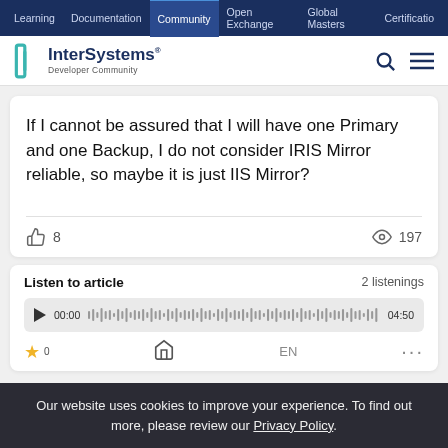Learning | Documentation | Community | Open Exchange | Global Masters | Certification
[Figure (logo): InterSystems Developer Community logo with teal bracket icon]
If I cannot be assured that I will have one Primary and one Backup, I do not consider IRIS Mirror reliable, so maybe it is just IIS Mirror?
8 likes · 197 views
Listen to article — 2 listenings
00:00 ... 04:50
Our website uses cookies to improve your experience. To find out more, please review our Privacy Policy.